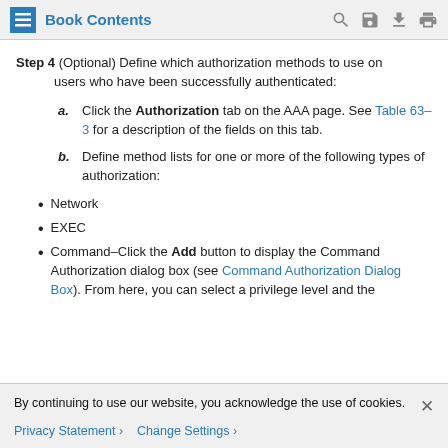Book Contents
Step 4 (Optional) Define which authorization methods to use on users who have been successfully authenticated:
a. Click the Authorization tab on the AAA page. See Table 63-3 for a description of the fields on this tab.
b. Define method lists for one or more of the following types of authorization:
Network
EXEC
Command–Click the Add button to display the Command Authorization dialog box (see Command Authorization Dialog Box). From here, you can select a privilege level and the
By continuing to use our website, you acknowledge the use of cookies.
Privacy Statement > Change Settings >